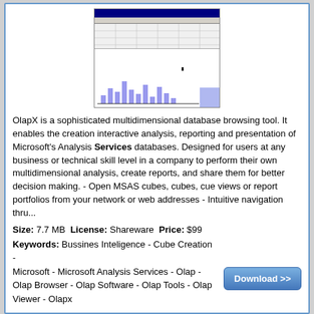[Figure (screenshot): OlapX application screenshot showing a grid/spreadsheet view at the top and a bar chart with purple bars at the bottom, with a blue sidebar on the right.]
OlapX is a sophisticated multidimensional database browsing tool. It enables the creation interactive analysis, reporting and presentation of Microsoft's Analysis Services databases. Designed for users at any business or technical skill level in a company to perform their own multidimensional analysis, create reports, and share them for better decision making. - Open MSAS cubes, cubes, cue views or report portfolios from your network or web addresses - Intuitive navigation thru...
Size: 7.7 MB License: Shareware Price: $99
Keywords: Bussines Inteligence - Cube Creation - Microsoft - Microsoft Analysis Services - Olap - Olap Browser - Olap Software - Olap Tools - Olap Viewer - Olapx
Commit CRM 3.7
Data Added 1: June 21, 2007
[Figure (screenshot): Commit CRM application screenshot showing a colorful grid/calendar interface with yellow, pink, blue, purple, and orange blocks on a white background.]
Commit - CRM, Service and Billing for Small Computer Repair and